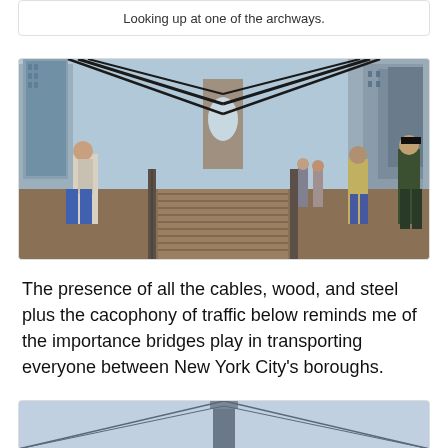Looking up at one of the archways.
[Figure (photo): Photo of tourists on the Brooklyn Bridge pedestrian walkway, with bridge cables, wooden planks, steel railings, and the archway visible in the background. City skyscrapers visible on both sides.]
The presence of all the cables, wood, and steel plus the cacophony of traffic below reminds me of the importance bridges play in transporting everyone between New York City's boroughs.
[Figure (photo): Photo of a bridge tower with suspension cables, taken from the pedestrian walkway, with sky in background.]